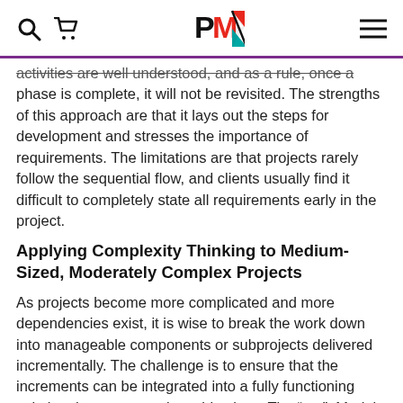PMI logo with search, cart, and menu icons
activities are well understood, and as a rule, once a phase is complete, it will not be revisited. The strengths of this approach are that it lays out the steps for development and stresses the importance of requirements. The limitations are that projects rarely follow the sequential flow, and clients usually find it difficult to completely state all requirements early in the project.
Applying Complexity Thinking to Medium-Sized, Moderately Complex Projects
As projects become more complicated and more dependencies exist, it is wise to break the work down into manageable components or subprojects delivered incrementally. The challenge is to ensure that the increments can be integrated into a fully functioning solution that meets project objectives. The “Vee” Model, authored by NASA to manage project complexity, is often used for moderately complex projects, as it describes the